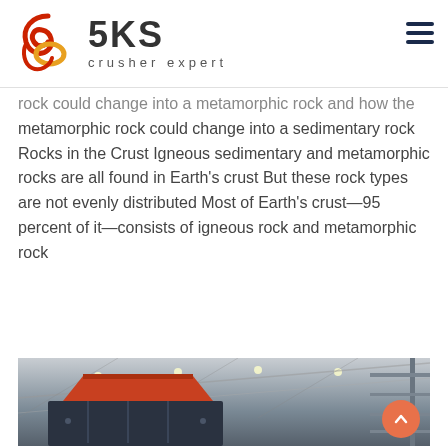SKS crusher expert
rock could change into a metamorphic rock and how the metamorphic rock could change into a sedimentary rock Rocks in the Crust Igneous sedimentary and metamorphic rocks are all found in Earth's crust But these rock types are not evenly distributed Most of Earth's crust—95 percent of it—consists of igneous rock and metamorphic rock
[Figure (other): Orange rounded rectangle button with white bold text 'LIVE CHAT']
[Figure (photo): Interior of a large industrial warehouse/factory with steel roof structure and a heavy industrial crushing machine in the foreground with orange/red top and dark body]